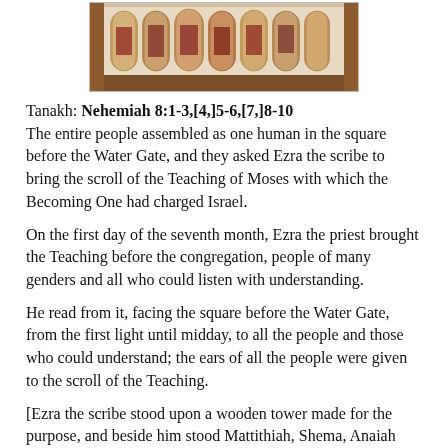[Figure (photo): Photo of Torah scrolls stored upright in a wooden case, showing the wooden rollers and decorated mantles of several scrolls]
Tanakh: Nehemiah 8:1-3,[4,]5-6,[7,]8-10
The entire people assembled as one human in the square before the Water Gate, and they asked Ezra the scribe to bring the scroll of the Teaching of Moses with which the Becoming One had charged Israel.

On the first day of the seventh month, Ezra the priest brought the Teaching before the congregation, people of many genders and all who could listen with understanding.

He read from it, facing the square before the Water Gate, from the first light until midday, to all the people and those who could understand; the ears of all the people were given to the scroll of the Teaching.

[Ezra the scribe stood upon a wooden tower made for the purpose, and beside him stood Mattithiah, Shema, Anaiah
[Ezra the scribe stood upon a wooden tower made for the purpose, and beside him stood Mattithiah, Shema, Anaiah